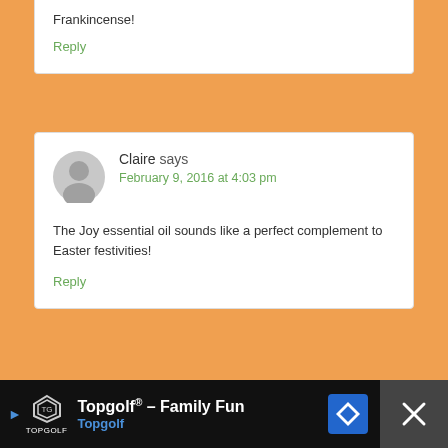Frankincense!
Reply
Claire says
February 9, 2016 at 4:03 pm
The Joy essential oil sounds like a perfect complement to Easter festivities!
Reply
Topgolf® – Family Fun Topgolf